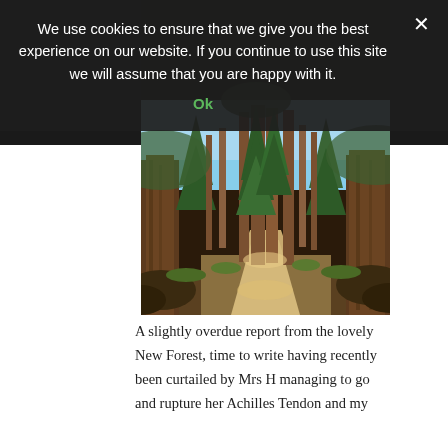We use cookies to ensure that we give you the best experience on our website. If you continue to use this site we will assume that you are happy with it.
Ok
[Figure (photo): A forest path through tall trees with bare branches and some evergreen trees, under a clear blue sky. Sunlight falls on the sandy path between large tree trunks in what appears to be the New Forest.]
A slightly overdue report from the lovely New Forest, time to write having recently been curtailed by Mrs H managing to go and rupture her Achilles Tendon and my